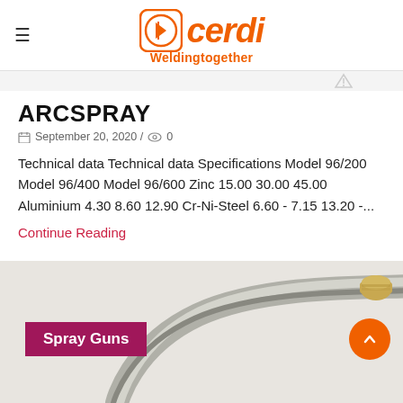cerdi Welding together
ARCSPRAY
September 20, 2020 / 0
Technical data Technical data Specifications Model 96/200 Model 96/400 Model 96/600 Zinc 15.00 30.00 45.00 Aluminium 4.30 8.60 12.90 Cr-Ni-Steel 6.60 - 7.15 13.20 -...
Continue Reading
[Figure (photo): A curved metal tube/hose with a brass fitting tip, used as a spray gun component]
Spray Guns